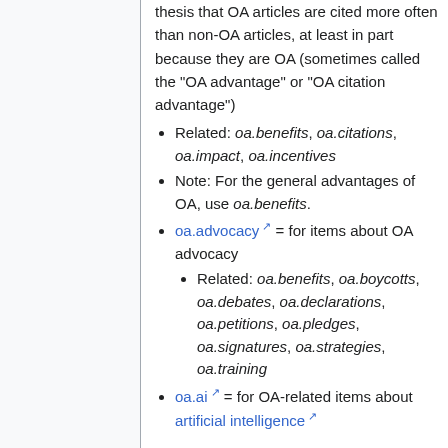thesis that OA articles are cited more often than non-OA articles, at least in part because they are OA (sometimes called the "OA advantage" or "OA citation advantage")
Related: oa.benefits, oa.citations, oa.impact, oa.incentives
Note: For the general advantages of OA, use oa.benefits.
oa.advocacy = for items about OA advocacy
Related: oa.benefits, oa.boycotts, oa.debates, oa.declarations, oa.petitions, oa.pledges, oa.signatures, oa.strategies, oa.training
oa.ai = for OA-related items about artificial intelligence